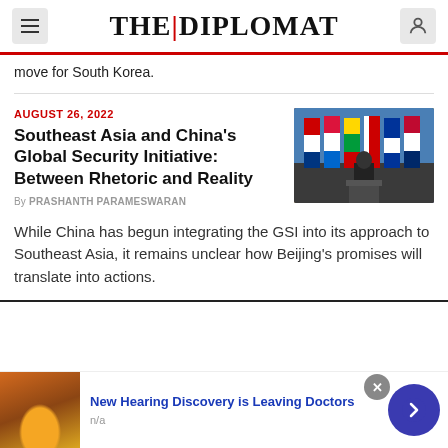THE DIPLOMAT
move for South Korea.
AUGUST 26, 2022
Southeast Asia and China's Global Security Initiative: Between Rhetoric and Reality
By PRASHANTH PARAMESWARAN
[Figure (photo): A person at a podium in front of multiple national flags at a diplomatic event]
While China has begun integrating the GSI into its approach to Southeast Asia, it remains unclear how Beijing's promises will translate into actions.
[Figure (illustration): Advertisement banner showing ear anatomy illustration with text: New Hearing Discovery is Leaving Doctors, n/a]